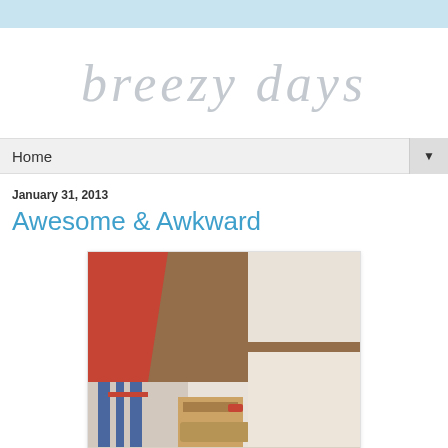breezy days
Home ▼
January 31, 2013
Awesome & Awkward
[Figure (photo): Close-up photo of a person in a red jacket and striped clothing with boots, standing in snow. Instagram-style warm-filtered image.]